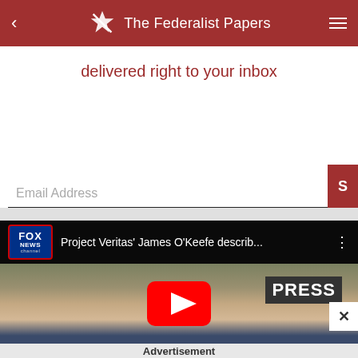The Federalist Papers
delivered right to your inbox
Email Address
[Figure (screenshot): Fox News YouTube video thumbnail showing Project Veritas' James O'Keefe with title 'Project Veritas' James O'Keefe describ...' and a YouTube play button overlay. A PRESS sign is visible in the background.]
Advertisement